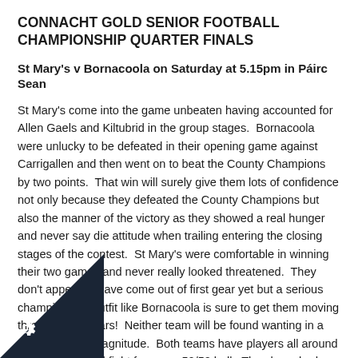CONNACHT GOLD SENIOR FOOTBALL CHAMPIONSHIP QUARTER FINALS
St Mary's v Bornacoola on Saturday at 5.15pm in Páirc Sean
St Mary's come into the game unbeaten having accounted for Allen Gaels and Kiltubrid in the group stages.  Bornacoola were unlucky to be defeated in their opening game against Carrigallen and then went on to beat the County Champions by two points.  That win will surely give them lots of confidence not only because they defeated the County Champions but also the manner of the victory as they showed a real hunger and never say die attitude when trailing entering the closing stages of the contest.  St Mary's were comfortable in winning their two games and never really looked threatened.  They don't appear to have come out of first gear yet but a serious championship outfit like Bornacoola is sure to get them moving through their gears!  Neither team will be found wanting in a contest of this magnitude.  Both teams have players all around the pitch who will fight for every 50/50 ball.  They have had many a battle in the past and Saturday will be no different.  Saturday night one team will be celebrating and